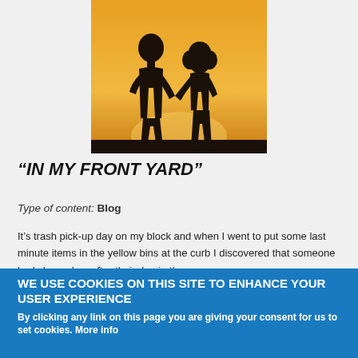[Figure (photo): Silhouette of two children holding hands against a warm orange/yellow sunset sky]
“IN MY FRONT YARD”
Type of content: Blog
It’s trash pick-up day on my block and when I went to put some last minute items in the yellow bins at the curb I discovered that someone had cleaned up after their dog in the
WE USE COOKIES ON THIS SITE TO ENHANCE YOUR USER EXPERIENCE
By clicking any link on this page you are giving your consent for us to set cookies. More info